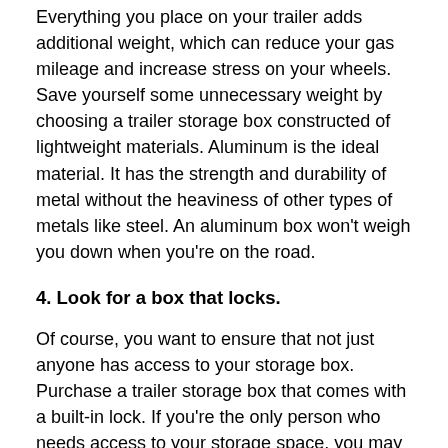Everything you place on your trailer adds additional weight, which can reduce your gas mileage and increase stress on your wheels. Save yourself some unnecessary weight by choosing a trailer storage box constructed of lightweight materials. Aluminum is the ideal material. It has the strength and durability of metal without the heaviness of other types of metals like steel. An aluminum box won't weigh you down when you're on the road.
4. Look for a box that locks.
Of course, you want to ensure that not just anyone has access to your storage box. Purchase a trailer storage box that comes with a built-in lock. If you're the only person who needs access to your storage space, you may want to purchase a box that comes with a key. If you travel with others, a storage box with a combination lock might be a better alternative.
A trailer storage box will free up space in your car or truck without forcing you to leave any of your necessities at